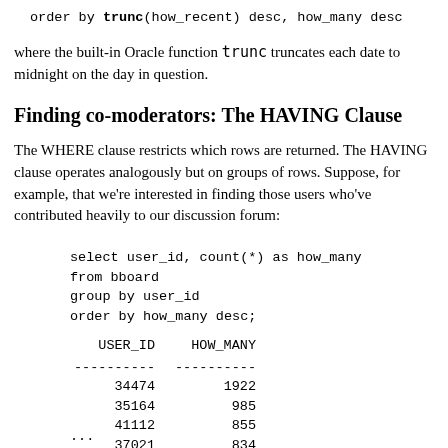order by trunc(how_recent) desc, how_many desc
where the built-in Oracle function trunc truncates each date to midnight on the day in question.
Finding co-moderators: The HAVING Clause
The WHERE clause restricts which rows are returned. The HAVING clause operates analogously but on groups of rows. Suppose, for example, that we're interested in finding those users who've contributed heavily to our discussion forum:
select user_id, count(*) as how_many
from bboard
group by user_id
order by how_many desc;
| USER_ID | HOW_MANY |
| --- | --- |
| 34474 | 1922 |
| 35164 | 985 |
| 41112 | 855 |
| 37021 | 834 |
| 34004 | 823 |
| 37397 | 717 |
| 40375 | 639 |